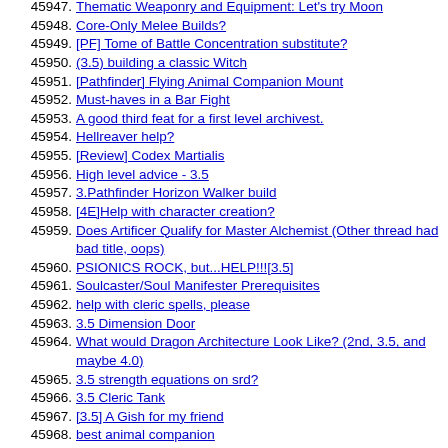45947. Thematic Weaponry and Equipment: Let's try Moon
45948. Core-Only Melee Builds?
45949. [PF] Tome of Battle Concentration substitute?
45950. (3.5) building a classic Witch
45951. [Pathfinder] Flying Animal Companion Mount
45952. Must-haves in a Bar Fight
45953. A good third feat for a first level archivest.
45954. Hellreaver help?
45955. [Review] Codex Martialis
45956. High level advice - 3.5
45957. 3.Pathfinder Horizon Walker build
45958. [4E]Help with character creation?
45959. Does Artificer Qualify for Master Alchemist (Other thread had bad title, oops)
45960. PSIONICS ROCK, but...HELP!!![3.5]
45961. Soulcaster/Soul Manifester Prerequisites
45962. help with cleric spells, please
45963. 3.5 Dimension Door
45964. What would Dragon Architecture Look Like? (2nd, 3.5, and maybe 4.0)
45965. 3.5 strength equations on srd?
45966. 3.5 Cleric Tank
45967. [3.5] A Gish for my friend
45968. best animal companion
45969. What LA is Solar?
45970. PBP Games
45971. Pricing and effects on items to prolong fighting endurance?
45972. A question on Genesis
45973. Gestalt vs Non-Gestalt
45974. [3.5] A and Clinging ManifS A Rapid Build C...